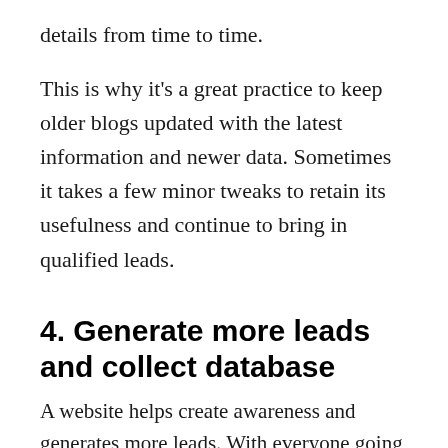details from time to time.
This is why it's a great practice to keep older blogs updated with the latest information and newer data. Sometimes it takes a few minor tweaks to retain its usefulness and continue to bring in qualified leads.
4. Generate more leads and collect database
A website helps create awareness and generates more leads. With everyone going digital, your target or prospect customers are also searching for you online. Targeting them becomes easy with a website; you can collect data beyond leads from your website in a...